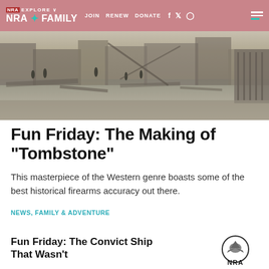NRA EXPLORE | JOIN | RENEW | DONATE | NRA FAMILY
[Figure (photo): Black and white historical photograph of a destroyed or damaged frontier town, showing rubble, debris, and several figures standing among ruins of wooden structures.]
Fun Friday: The Making of "Tombstone"
This masterpiece of the Western genre boasts some of the best historical firearms accuracy out there.
NEWS, FAMILY & ADVENTURE
Fun Friday: The Convict Ship That Wasn't
[Figure (logo): NRA eagle logo]